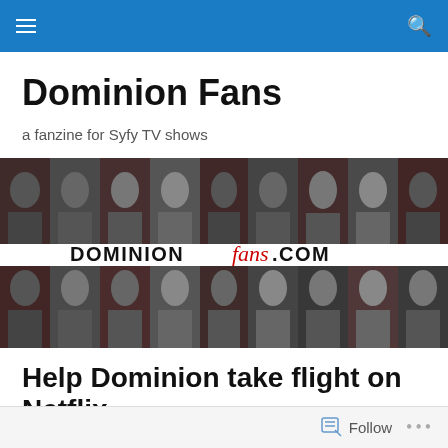Navigation bar with menu and search icons
Dominion Fans
a fanzine for Syfy TV shows
[Figure (photo): Banner image showing a collage of character portraits in black-and-white and red tones, with 'DOMINIONFANS.COM' text overlaid in the center]
Help Dominion take flight on Netflix
Follow  ...